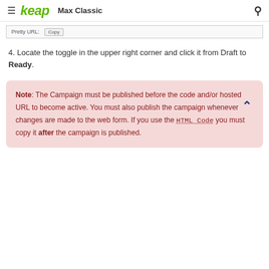≡ keap Max Classic 🔍
[Figure (screenshot): Partial screenshot showing 'Pretty URL:' label and a 'Copy' button in a form interface]
4. Locate the toggle in the upper right corner and click it from Draft to Ready.
Note: The Campaign must be published before the code and/or hosted URL to become active. You must also publish the campaign whenever changes are made to the web form. If you use the HTML Code you must copy it after the campaign is published.